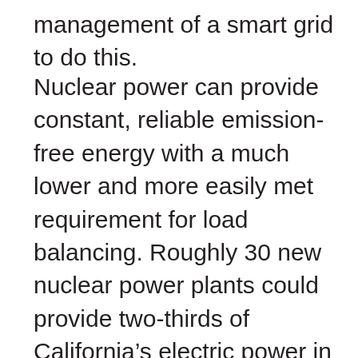management of a smart grid to do this.
Nuclear power can provide constant, reliable emission-free energy with a much lower and more easily met requirement for load balancing. Roughly 30 new nuclear power plants could provide two-thirds of California’s electric power in 2050. However, nuclear waste storage remains a significant problem with existing reactor technology, not to mention public concern, especially in the wake of Japan’s recent earthquake and tsunami disaster. California could